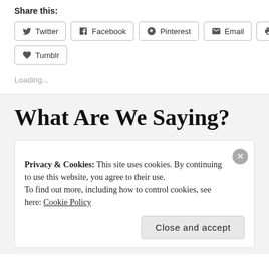Share this:
Twitter
Facebook
Pinterest
Email
Print
Tumblr
Loading...
What Are We Saying?
Privacy & Cookies: This site uses cookies. By continuing to use this website, you agree to their use.
To find out more, including how to control cookies, see here: Cookie Policy
Close and accept